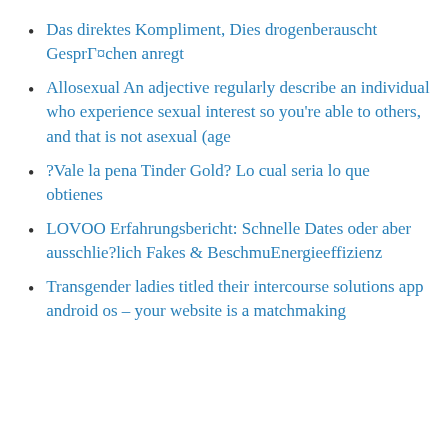Das direktes Kompliment, Dies drogenberauscht GesprΓ¤chen anregt
Allosexual An adjective regularly describe an individual who experience sexual interest so you're able to others, and that is not asexual (age
?Vale la pena Tinder Gold? Lo cual seria lo que obtienes
LOVOO Erfahrungsbericht: Schnelle Dates oder aber ausschlie?lich Fakes & BeschmuEnergieeffizienz
Transgender ladies titled their intercourse solutions app android os – your website is a matchmaking